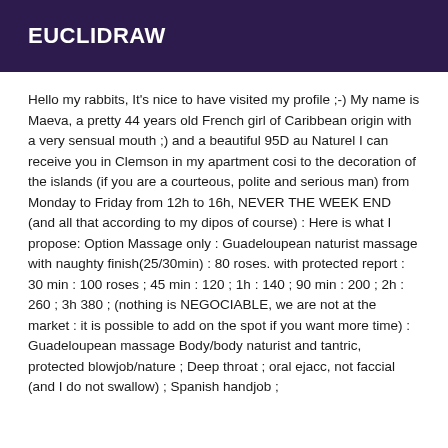EUCLIDRAW
Hello my rabbits, It's nice to have visited my profile ;-) My name is Maeva, a pretty 44 years old French girl of Caribbean origin with a very sensual mouth ;) and a beautiful 95D au Naturel I can receive you in Clemson in my apartment cosi to the decoration of the islands (if you are a courteous, polite and serious man) from Monday to Friday from 12h to 16h, NEVER THE WEEK END (and all that according to my dipos of course) : Here is what I propose: Option Massage only : Guadeloupean naturist massage with naughty finish(25/30min) : 80 roses. with protected report : 30 min : 100 roses ; 45 min : 120 ; 1h : 140 ; 90 min : 200 ; 2h : 260 ; 3h 380 ; (nothing is NEGOCIABLE, we are not at the market : it is possible to add on the spot if you want more time) : Guadeloupean massage Body/body naturist and tantric, protected blowjob/nature ; Deep throat ; oral ejacc, not faccial (and I do not swallow) ; Spanish handjob ;